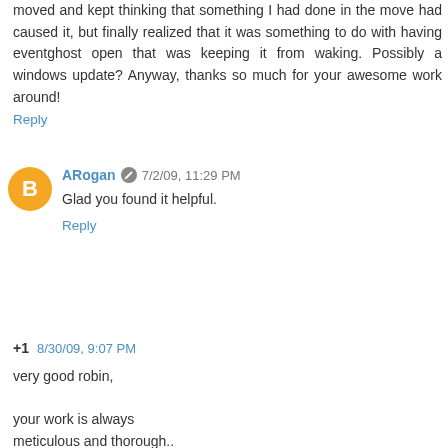moved and kept thinking that something I had done in the move had caused it, but finally realized that it was something to do with having eventghost open that was keeping it from waking. Possibly a windows update? Anyway, thanks so much for your awesome work around!
Reply
ARogan  7/2/09, 11:29 PM
Glad you found it helpful.
Reply
+1  8/30/09, 9:07 PM
very good robin,

your work is always meticulous and thorough..

i just keep my pc on 24/7, and haven't had